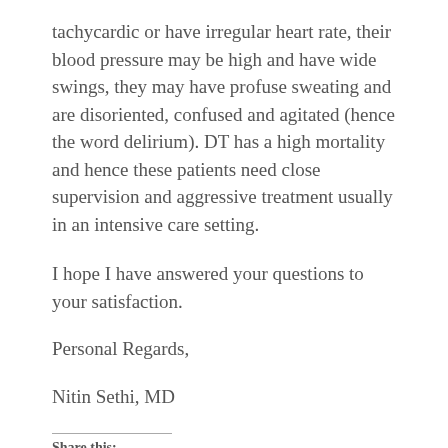tachycardic or have irregular heart rate, their blood pressure may be high and have wide swings, they may have profuse sweating and are disoriented, confused and agitated (hence the word delirium). DT has a high mortality and hence these patients need close supervision and aggressive treatment usually in an intensive care setting.
I hope I have answered your questions to your satisfaction.
Personal Regards,
Nitin Sethi, MD
Share this:
Twitter   Facebook